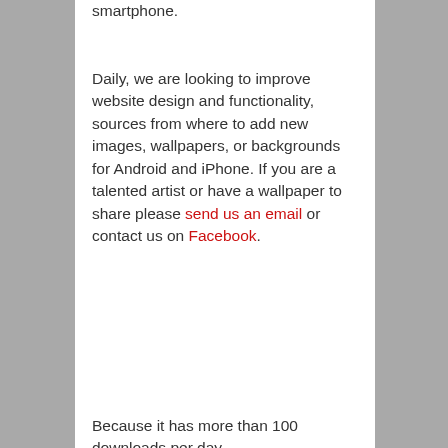smartphone.
Daily, we are looking to improve website design and functionality, sources from where to add new images, wallpapers, or backgrounds for Android and iPhone. If you are a talented artist or have a wallpaper to share please send us an email or contact us on Facebook.
Because it has more than 100 downloads per day